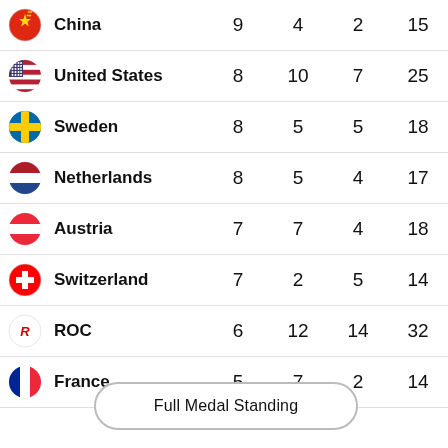| Country | Gold | Silver | Bronze | Total |
| --- | --- | --- | --- | --- |
| China | 9 | 4 | 2 | 15 |
| United States | 8 | 10 | 7 | 25 |
| Sweden | 8 | 5 | 5 | 18 |
| Netherlands | 8 | 5 | 4 | 17 |
| Austria | 7 | 7 | 4 | 18 |
| Switzerland | 7 | 2 | 5 | 14 |
| ROC | 6 | 12 | 14 | 32 |
| France | 5 | 7 | 2 | 14 |
Full Medal Standing